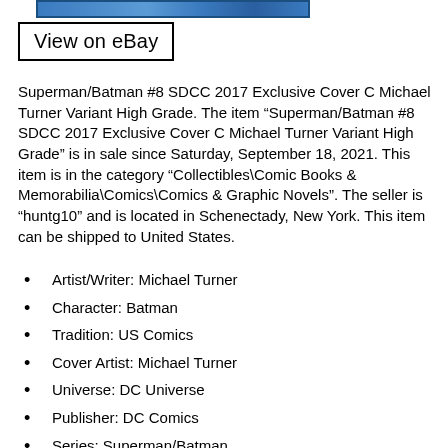[Figure (photo): Partial image strip at top of page showing a comic book cover]
View on eBay
Superman/Batman #8 SDCC 2017 Exclusive Cover C Michael Turner Variant High Grade. The item “Superman/Batman #8 SDCC 2017 Exclusive Cover C Michael Turner Variant High Grade” is in sale since Saturday, September 18, 2021. This item is in the category “Collectibles\Comic Books & Memorabilia\Comics\Comics & Graphic Novels”. The seller is “huntg10” and is located in Schenectady, New York. This item can be shipped to United States.
Artist/Writer: Michael Turner
Character: Batman
Tradition: US Comics
Cover Artist: Michael Turner
Universe: DC Universe
Publisher: DC Comics
Series: Superman/Batman